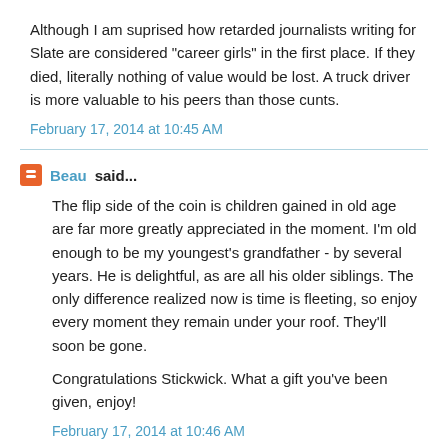Although I am suprised how retarded journalists writing for Slate are considered "career girls" in the first place. If they died, literally nothing of value would be lost. A truck driver is more valuable to his peers than those cunts.
February 17, 2014 at 10:45 AM
Beau said...
The flip side of the coin is children gained in old age are far more greatly appreciated in the moment. I'm old enough to be my youngest's grandfather - by several years. He is delightful, as are all his older siblings. The only difference realized now is time is fleeting, so enjoy every moment they remain under your roof. They'll soon be gone.

Congratulations Stickwick. What a gift you've been given, enjoy!
February 17, 2014 at 10:46 AM